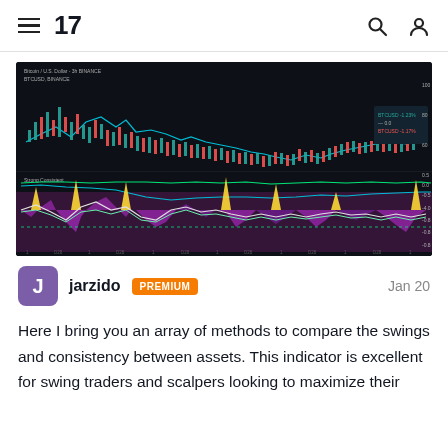TradingView navigation bar with hamburger menu, logo '17', search icon, and user profile icon
[Figure (screenshot): TradingView candlestick chart showing Bitcoin/US Dollar on a dark background with a secondary indicator panel below showing oscillator with purple, yellow, and white lines. The top panel shows price action with teal and red candles trending down, and the bottom panel shows an oscillator with colored bands.]
jarzido PREMIUM Jan 20
Here I bring you an array of methods to compare the swings and consistency between assets. This indicator is excellent for swing traders and scalpers looking to maximize their